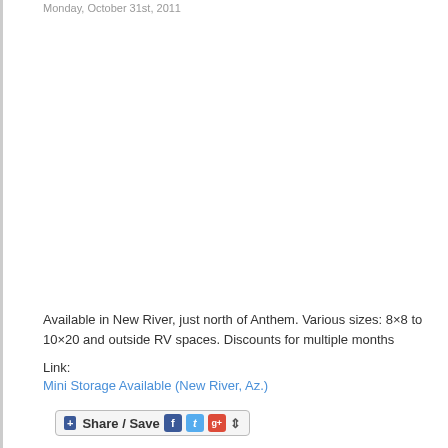Monday, October 31st, 2011
Available in New River, just north of Anthem. Various sizes: 8×8 to 10×20 and outside RV spaces. Discounts for multiple months
Link:
Mini Storage Available (New River, Az.)
[Figure (other): Share / Save social sharing button with Facebook, Twitter, Google+ icons and dropdown arrow]